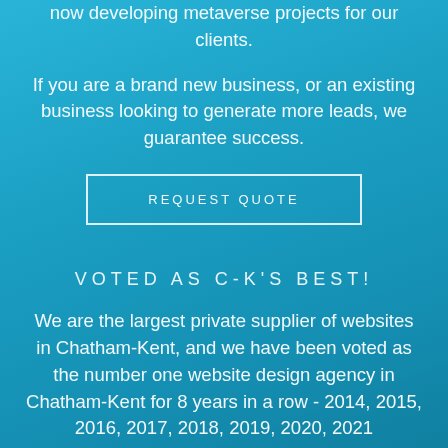now developing metaverse projects for our clients.
If you are a brand new business, or an existing business looking to generate more leads, we guarantee success.
REQUEST QUOTE
VOTED AS C-K'S BEST!
We are the largest private supplier of websites in Chatham-Kent, and we have been voted as the number one website design agency in Chatham-Kent for 8 years in a row - 2014, 2015, 2016, 2017, 2018, 2019, 2020, 2021